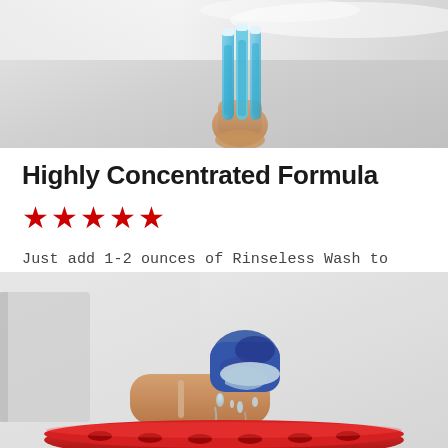[Figure (photo): A hand holding blue liquid-filled clear tubes/bottles against a light background]
Highly Concentrated Formula
★★★★★
Just add 1-2 ounces of Rinseless Wash to your 5 gallon bucket of water for easy washing when you don't have access to a hose.
[Figure (photo): A hand wearing a blue and black glove wringing a cloth over a red bucket lid, with soapy water dripping]